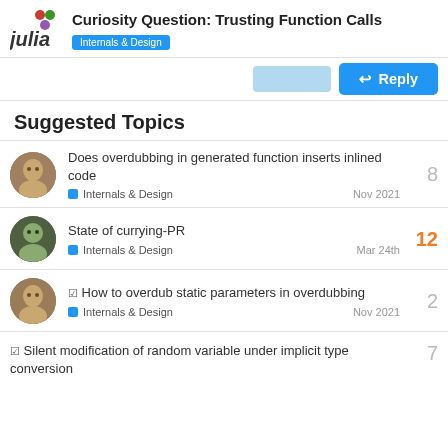Curiosity Question: Trusting Function Calls — Internals & Design
Suggested Topics
Does overdubbing in generated function inserts inlined code — Internals & Design — Nov 2021 — 8 replies
State of currying-PR — Internals & Design — Mar 24th — 12 replies
✓ How to overdub static parameters in overdubbing — Internals & Design — Nov 2021 — 2 replies
✓ Silent modification of random variable under implicit type conversion — 7 replies